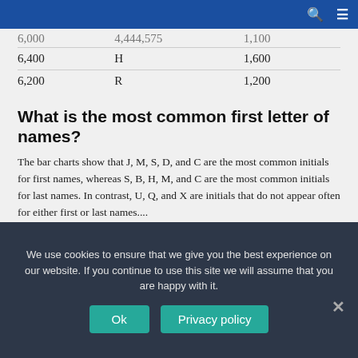Navigation bar with search and menu icons
|  |  |  |
| --- | --- | --- |
| 6,000 | 4,444,575 | 1,100 |
| 6,400 | H | 1,600 |
| 6,200 | R | 1,200 |
What is the most common first letter of names?
The bar charts show that J, M, S, D, and C are the most common initials for first names, whereas S, B, H, M, and C are the most common initials for last names. In contrast, U, Q, and X are initials that do not appear often for either first or last names....
What is a word made up with 4 letters?
We use cookies to ensure that we give you the best experience on our website. If you continue to use this site we will assume that you are happy with it.